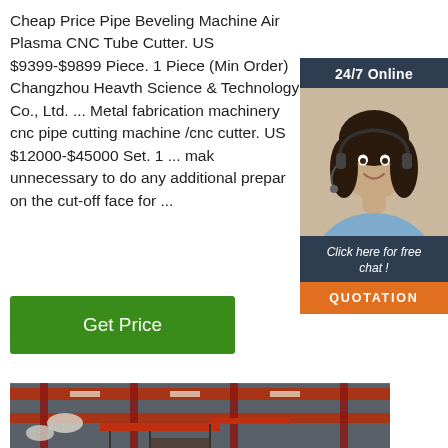Cheap Price Pipe Beveling Machine Air Plasma CNC Tube Cutter. US $9399-$9899 Piece. 1 Piece (Min Order) Changzhou Heavth Science & Technology Co., Ltd. ... Metal fabrication machinery cnc pipe cutting machine /cnc cutter. US $12000-$45000 Set. 1 ... mak unnecessary to do any additional prepar on the cut-off face for ...
[Figure (photo): Customer service woman with headset, 24/7 Online chat widget with dark background, orange QUOTATION button]
[Figure (photo): Industrial factory floor with red overhead cranes and structural steel beams, warehouse interior]
Get Price
24/7 Online
Click here for free chat !
QUOTATION